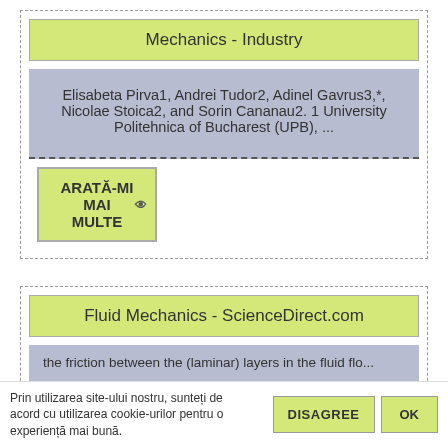Mechanics - Industry
Elisabeta Pirva1, Andrei Tudor2, Adinel Gavrus3,*, Nicolae Stoica2, and Sorin Cananau2. 1 University Politehnica of Bucharest (UPB), ...
ARATĂ-MI MAI MULTE
Fluid Mechanics - ScienceDirect.com
the friction between the (laminar) layers in the fluid flo...
Prin utilizarea site-ului nostru, sunteți de acord cu utilizarea cookie-urilor pentru o experiență mai bună.